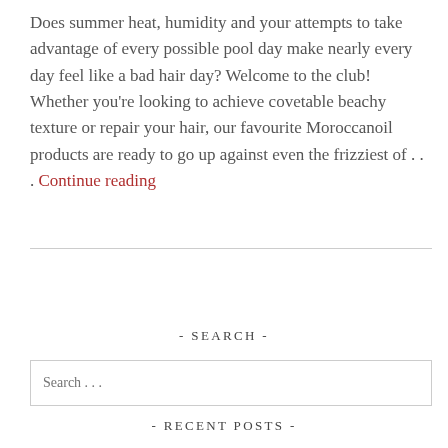Does summer heat, humidity and your attempts to take advantage of every possible pool day make nearly every day feel like a bad hair day? Welcome to the club! Whether you're looking to achieve covetable beachy texture or repair your hair, our favourite Moroccanoil products are ready to go up against even the frizziest of . . . Continue reading
- SEARCH -
- RECENT POSTS -